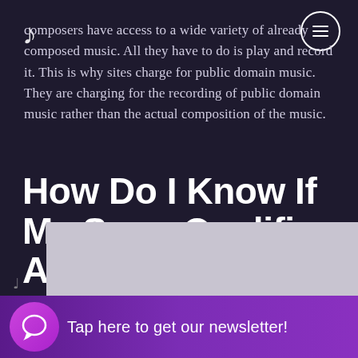composers have access to a wide variety of already composed music. All they have to do is play and record it. This is why sites charge for public domain music. They are charging for the recording of public domain music rather than the actual composition of the music.
How Do I Know If My Song Qualifies As Public Domain?
Need any help?
[Figure (screenshot): Bottom bar with purple gradient background showing a chat bubble icon and text 'Tap here to get our newsletter!']